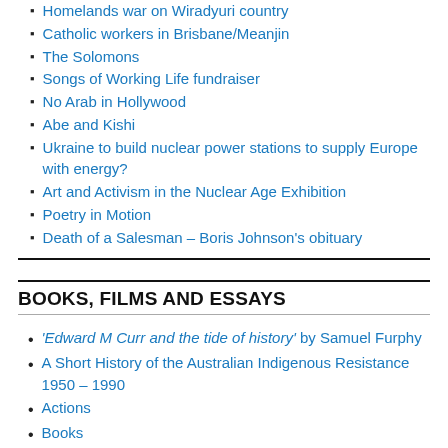Homelands war on Wiradyuri country
Catholic workers in Brisbane/Meanjin
The Solomons
Songs of Working Life fundraiser
No Arab in Hollywood
Abe and Kishi
Ukraine to build nuclear power stations to supply Europe with energy?
Art and Activism in the Nuclear Age Exhibition
Poetry in Motion
Death of a Salesman – Boris Johnson's obituary
BOOKS, FILMS AND ESSAYS
'Edward M Curr and the tide of history' by Samuel Furphy
A Short History of the Australian Indigenous Resistance 1950 – 1990
Actions
Books
"After the Waterfront – the workers are quiet" by